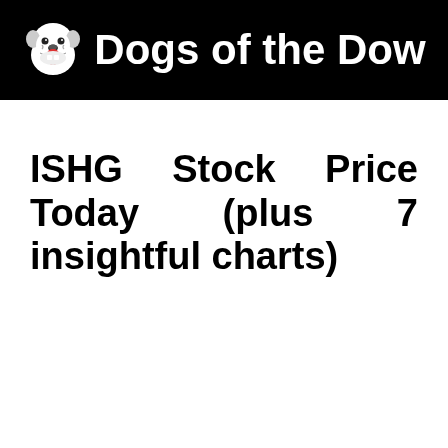Dogs of the Dow
ISHG Stock Price Today (plus 7 insightful charts)